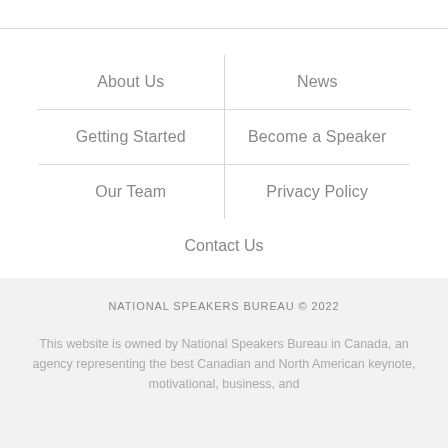About Us
News
Getting Started
Become a Speaker
Our Team
Privacy Policy
Contact Us
NATIONAL SPEAKERS BUREAU © 2022
This website is owned by National Speakers Bureau in Canada, an agency representing the best Canadian and North American keynote, motivational, business, and